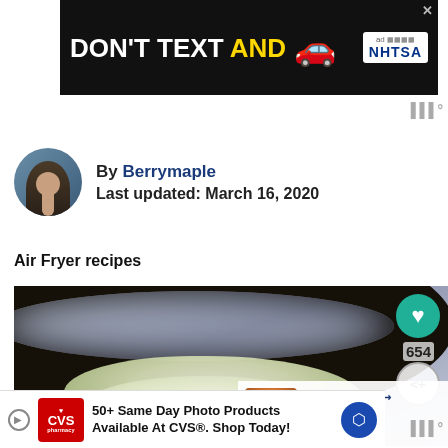[Figure (photo): NHTSA 'Don't Text and Drive' advertisement banner with white text on black background, yellow text, light blue 'AND', red car emoji, and NHTSA logo]
By Berrymaple
Last updated: March 16, 2020
Air Fryer recipes
[Figure (photo): Close-up photo of food (mashed or creamy filling) in a dark ceramic/stone bowl on a blue and white striped cloth background, with What's Next overlay showing Corned beef hash with...]
[Figure (photo): Bottom advertisement: CVS Pharmacy - 50+ Same Day Photo Products Available At CVS®. Shop Today!]